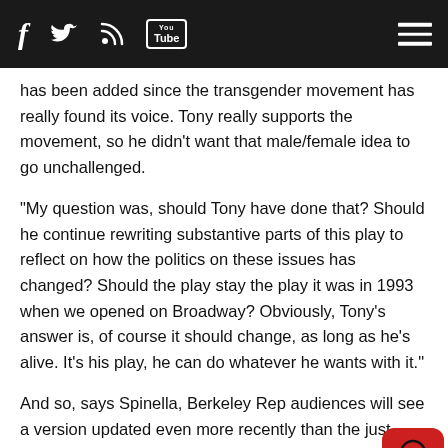Social media icons: Facebook, Twitter, RSS, YouTube; Hamburger menu
has been added since the transgender movement has really found its voice. Tony really supports the movement, so he didn't want that male/female idea to go unchallenged.
"My question was, should Tony have done that? Should he continue rewriting substantive parts of this play to reflect on how the politics on these issues has changed? Should the play stay the play it was in 1993 when we opened on Broadway? Obviously, Tony's answer is, of course it should change, as long as he's alive. It's his play, he can do whatever he wants with it."
And so, says Spinella, Berkeley Rep audiences will see a version updated even more recently than the just-opened 25th anniversary Broadway production with Nathan Lane